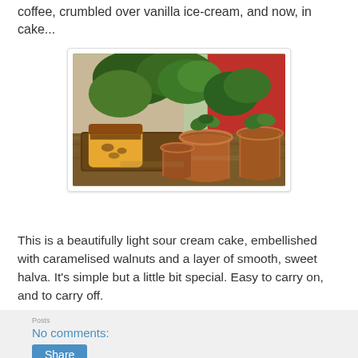coffee, crumbled over vanilla ice-cream, and now, in cake...
[Figure (photo): A sliced sour cream cake on a wooden board, with terracotta pots containing green succulents and plants in a garden setting. Red fence/wall in background.]
This is a beautifully light sour cream cake, embellished with caramelised walnuts and a layer of smooth, sweet halva. It's simple but a little bit special. Easy to carry on, and to carry off.
No comments:
Share